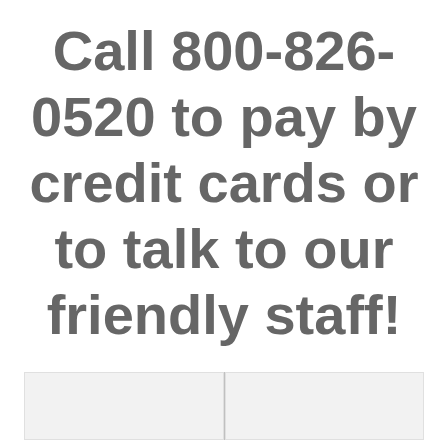Call 800-826-0520 to pay by credit cards or to talk to our friendly staff!
[Figure (other): Two light gray rectangular boxes side by side, with a small button/widget visible at bottom center]